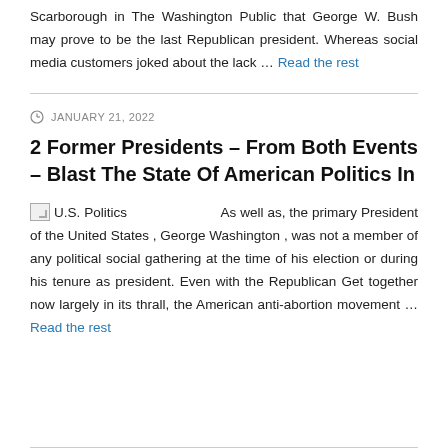Scarborough in The Washington Public that George W. Bush may prove to be the last Republican president. Whereas social media customers joked about the lack … Read the rest
JANUARY 21, 2022
2 Former Presidents – From Both Events – Blast The State Of American Politics In
U.S. Politics  As well as, the primary President of the United States , George Washington , was not a member of any political social gathering at the time of his election or during his tenure as president. Even with the Republican Get together now largely in its thrall, the American anti-abortion movement … Read the rest